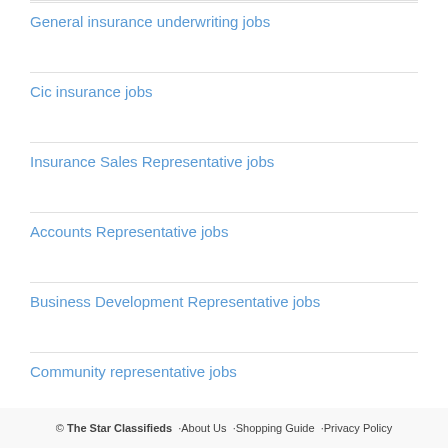General insurance underwriting jobs
Cic insurance jobs
Insurance Sales Representative jobs
Accounts Representative jobs
Business Development Representative jobs
Community representative jobs
© The Star Classifieds · About Us · Shopping Guide · Privacy Policy